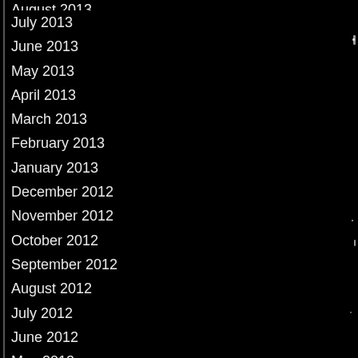August 2013
July 2013
June 2013
May 2013
April 2013
March 2013
February 2013
January 2013
December 2012
November 2012
October 2012
September 2012
August 2012
July 2012
June 2012
May 2012
April 2012
March 2012
February 2012